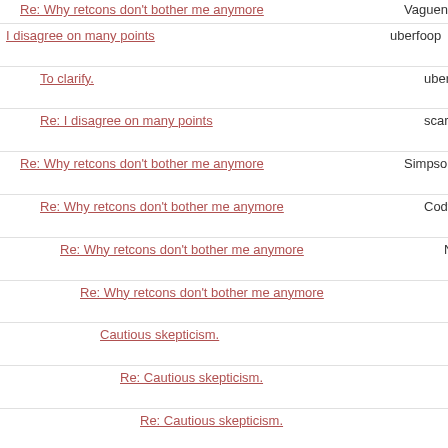Re: Why retcons don't bother me anymore | Vagueness | 9:09 p.m.
I disagree on many points | uberfoop | 5/11/11 10:36 p.m.
To clarify. | uberfoop | 5/11/11 11:10 p.m.
Re: I disagree on many points | scarab | 5/12/11 3:05 a.m.
Re: Why retcons don't bother me anymore | Simpsons Rule | 5/11/11 10:38 p.m.
Re: Why retcons don't bother me anymore | Cody Miller | 5/11/11 11:13 p.m.
Re: Why retcons don't bother me anymore | Narcogen | 5/12/11 2:13 a.m.
Re: Why retcons don't bother me anymore | Cody Miller | 5/12/11 12:05 p.m.
Cautious skepticism. | Narcogen | 5/13/11 1:38 a.m.
Re: Cautious skepticism. | Cody Miller | 5/13/11 11:14 a.m.
Re: Cautious skepticism. | Quirel | 5/13/11 7:04 p.m.